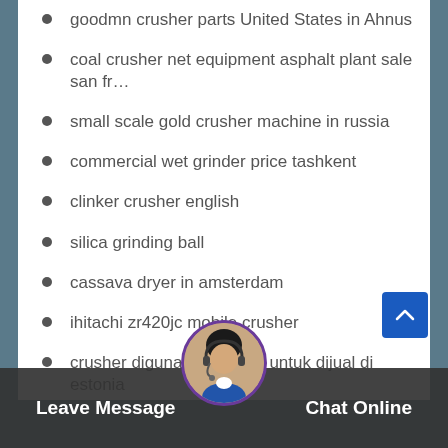goodmn crusher parts United States in Ahnus
coal crusher net equipment asphalt plant sale san fr...
small scale gold crusher machine in russia
commercial wet grinder price tashkent
clinker crusher english
silica grinding ball
cassava dryer in amsterdam
ihitachi zr420jc mobile crusher
crusher digunakan di jalur untuk dijual di estonia
machine manufacturer price pet high tenacity low el
stone quarry ball mill ... in ghana
project cost for stone crushing plantin estonia
[Figure (screenshot): Bottom chat widget with Leave Message and Chat Online buttons, and a customer support avatar]
Leave Message   Chat Online